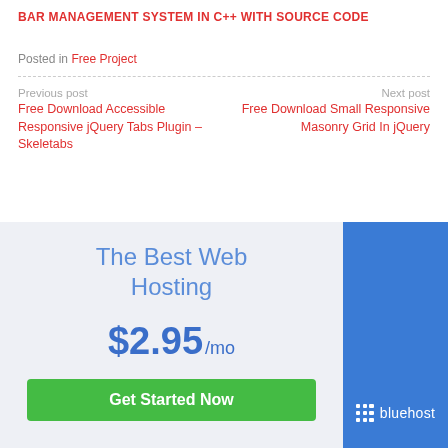BAR MANAGEMENT SYSTEM IN C++ WITH SOURCE CODE
Posted in Free Project
Previous post
Free Download Accessible Responsive jQuery Tabs Plugin – Skeletabs
Next post
Free Download Small Responsive Masonry Grid In jQuery
[Figure (infographic): Web hosting advertisement banner showing 'The Best Web Hosting' text, price $2.95/mo, a green Get Started Now button, and Bluehost logo on blue background]